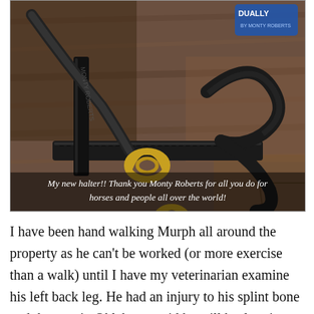[Figure (photo): A black horse halter with gold/brass hardware (snap hooks and rings) laid on a wooden surface. A 'Dually' brand tag is visible in the upper right. Text overlay reads: My new halter!! Thank you Monty Roberts for all you do for horses and people all over the world!]
My new halter!! Thank you Monty Roberts for all you do for horses and people all over the world!
I have been hand walking Murph all around the property as he can't be worked (or more exercise than a walk) until I have my veterinarian examine his left back leg. He had an injury to his splint bone and the vets in Oklahoma said he will heal up just fine but needed 30